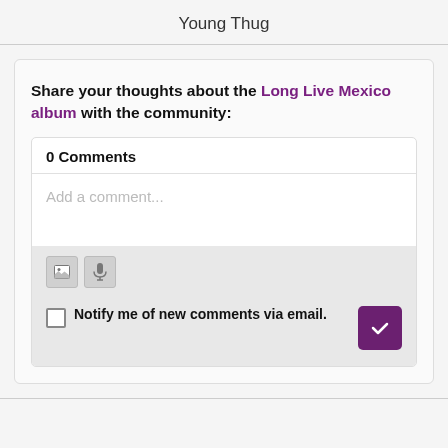Young Thug
Share your thoughts about the Long Live Mexico album with the community:
0 Comments
Add a comment...
Notify me of new comments via email.